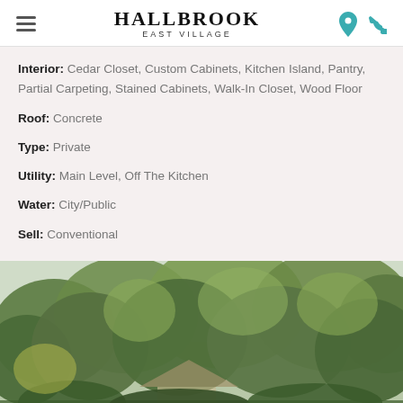Hallbrook East Village
Interior: Cedar Closet, Custom Cabinets, Kitchen Island, Pantry, Partial Carpeting, Stained Cabinets, Walk-In Closet, Wood Floor
Roof: Concrete
Type: Private
Utility: Main Level, Off The Kitchen
Water: City/Public
Sell: Conventional
[Figure (photo): Outdoor photo showing green trees with a house partially visible beneath the canopy]